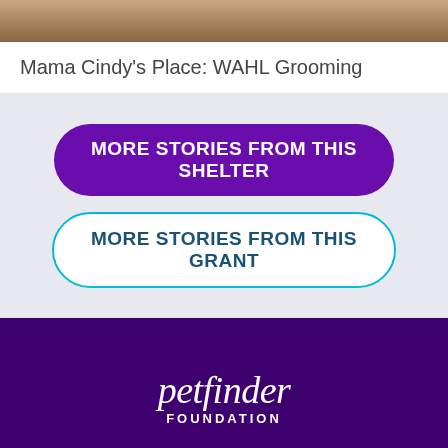[Figure (photo): Cropped photo of an animal, brownish fur texture visible at top of page]
Mama Cindy's Place: WAHL Grooming
MORE STORIES FROM THIS SHELTER
MORE STORIES FROM THIS GRANT
[Figure (logo): Petfinder Foundation logo — white italic script text 'petfinder' with 'FOUNDATION' in white spaced capitals below, on dark purple background]